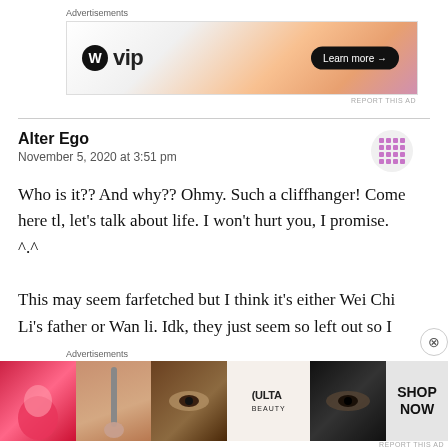[Figure (screenshot): WordPress VIP advertisement banner with orange gradient background and 'Learn more →' button]
REPORT THIS AD
Alter Ego
November 5, 2020 at 3:51 pm
Who is it?? And why?? Ohmy. Such a cliffhanger! Come here tl, let's talk about life. I won't hurt you, I promise. ^.^

This may seem farfetched but I think it's either Wei Chi Li's father or Wan li. Idk, they just seem so left out so I
[Figure (screenshot): Ulta Beauty advertisement banner showing cosmetic close-up photos with SHOP NOW button]
REPORT THIS AD